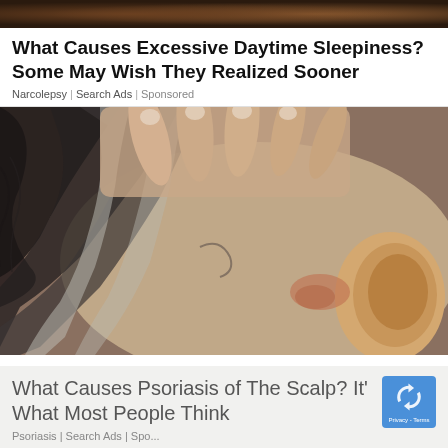[Figure (photo): Dark hair/scalp strip at top of page]
What Causes Excessive Daytime Sleepiness? Some May Wish They Realized Sooner
Narcolepsy | Search Ads | Sponsored
[Figure (photo): Close-up photograph of a person's scalp with gray hair, fingers scratching/touching the scalp near the ear, showing skin condition]
What Causes Psoriasis of The Scalp? It's Not What Most People Think
Psoriasis | Search Ads | Sponsored